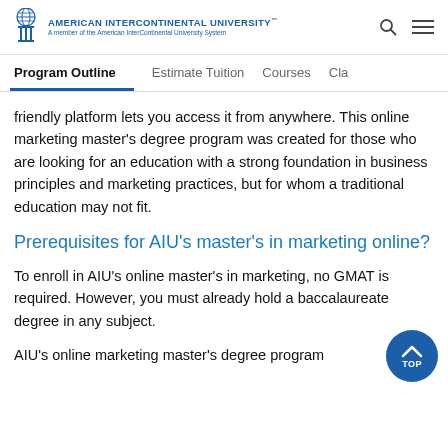AMERICAN INTERCONTINENTAL UNIVERSITY™ A member of the American InterContinental University System
Program Outline | Estimate Tuition | Courses | Cla
friendly platform lets you access it from anywhere. This online marketing master's degree program was created for those who are looking for an education with a strong foundation in business principles and marketing practices, but for whom a traditional education may not fit.
Prerequisites for AIU's master's in marketing online?
To enroll in AIU's online master's in marketing, no GMAT is required. However, you must already hold a baccalaureate degree in any subject.
AIU's online marketing master's degree program